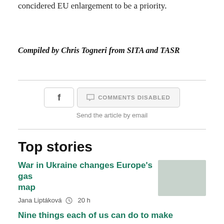concidered EU enlargement to be a priority.
Compiled by Chris Togneri from SITA and TASR
COMMENTS DISABLED
Send the article by email
Top stories
War in Ukraine changes Europe's gas map
Jana Liptáková   20 h
Nine things each of us can do to make